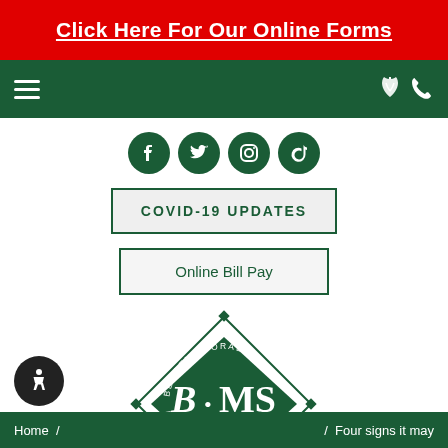Click Here For Our Online Forms
[Figure (other): Navigation bar with hamburger menu icon on left and phone icon on right, dark green background]
[Figure (other): Four social media icons (Facebook, Twitter, Instagram, TikTok) in dark green circles]
COVID-19 UPDATES
Online Bill Pay
[Figure (logo): Bergen Oral & Maxillofacial Surgery (BOMS) diamond-shaped logo in dark green with white text]
[Figure (other): Accessibility icon button (wheelchair symbol) in black circle]
Home / Four signs it may